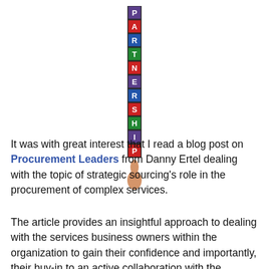[Figure (illustration): A stack of colorful letter blocks spelling PARTNERSHIP vertically, balanced on top of a thumbs-up hand]
It was with great interest that I read a blog post on Procurement Leaders from Danny Ertel dealing with the topic of strategic sourcing's role in the procurement of complex services.
The article provides an insightful approach to dealing with the services business owners within the organization to gain their confidence and importantly, their buy-in to an active collaboration with the procurement team.  In our